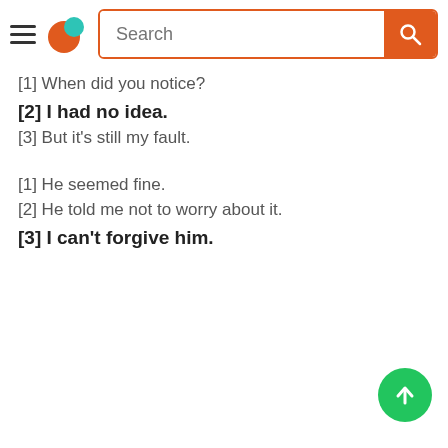Navigation bar with hamburger menu, logo, search box
[1] When did you notice?
[2] I had no idea.
[3] But it's still my fault.
[1] He seemed fine.
[2] He told me not to worry about it.
[3] I can't forgive him.